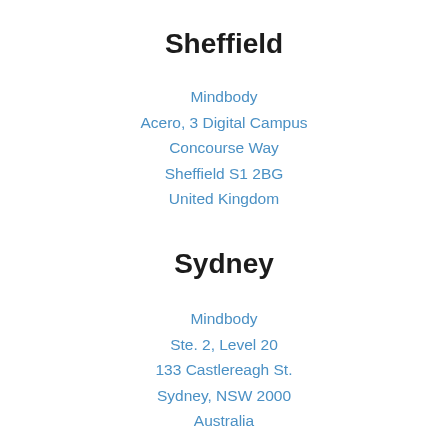Sheffield
Mindbody
Acero, 3 Digital Campus
Concourse Way
Sheffield S1 2BG
United Kingdom
Sydney
Mindbody
Ste. 2, Level 20
133 Castlereagh St.
Sydney, NSW 2000
Australia